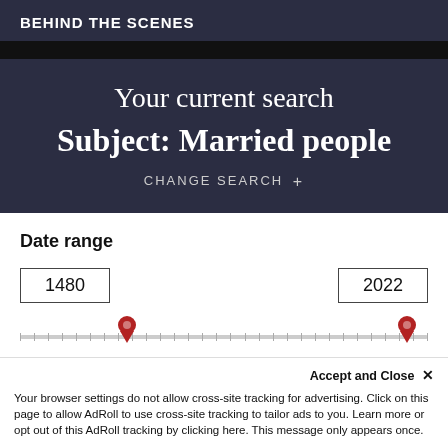BEHIND THE SCENES
Your current search
Subject: Married people
CHANGE SEARCH +
Date range
1480    2022
Accept and Close ×
Your browser settings do not allow cross-site tracking for advertising. Click on this page to allow AdRoll to use cross-site tracking to tailor ads to you. Learn more or opt out of this AdRoll tracking by clicking here. This message only appears once.